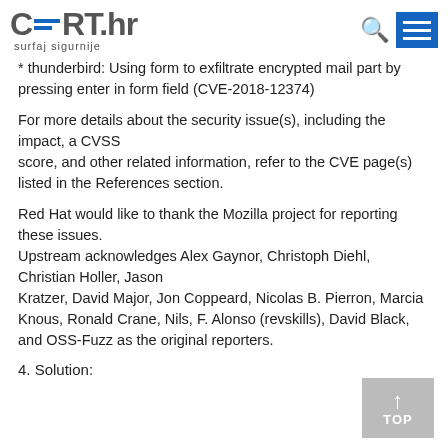CERT.hr surfaj sigurnije
* thunderbird: Using form to exfiltrate encrypted mail part by pressing enter in form field (CVE-2018-12374)
For more details about the security issue(s), including the impact, a CVSS score, and other related information, refer to the CVE page(s) listed in the References section.
Red Hat would like to thank the Mozilla project for reporting these issues.
Upstream acknowledges Alex Gaynor, Christoph Diehl, Christian Holler, Jason Kratzer, David Major, Jon Coppeard, Nicolas B. Pierron, Marcia Knous, Ronald Crane, Nils, F. Alonso (revskills), David Black, and OSS-Fuzz as the original reporters.
4. Solution: